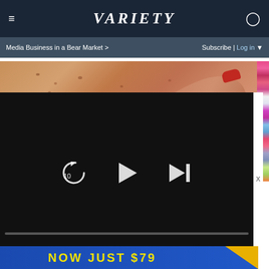≡  VARIETY  👤
Media Business in a Bear Market >
Subscribe | Log in ▼
[Figure (screenshot): Variety website screenshot showing a video player overlay on top of a close-up photo of an elderly person's arm/hand with skin spots, with video controls showing replay 10, play, and skip-next buttons, progress bar at 00:00/00:20, and an ad banner at bottom showing 'NOW JUST $79']
NOW JUST $79